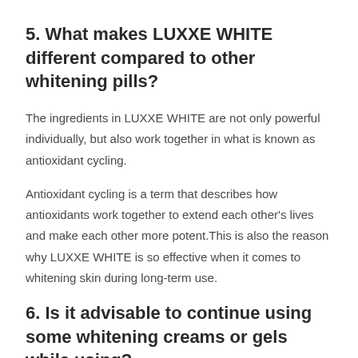5. What makes LUXXE WHITE different compared to other whitening pills?
The ingredients in LUXXE WHITE are not only powerful individually, but also work together in what is known as antioxidant cycling.
Antioxidant cycling is a term that describes how antioxidants work together to extend each other's lives and make each other more potent.This is also the reason why LUXXE WHITE is so effective when it comes to whitening skin during long-term use.
6. Is it advisable to continue using some whitening creams or gels while using?